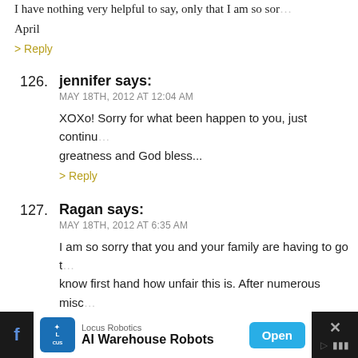I have nothing very helpful to say, only that I am so sor...
April
> Reply
126. jennifer says: MAY 18TH, 2012 AT 12:04 AM
XOXo! Sorry for what been happen to you, just continu... greatness and God bless...
> Reply
127. Ragan says: MAY 18TH, 2012 AT 6:35 AM
I am so sorry that you and your family are having to go t... know first hand how unfair this is. After numerous misc... dx with APA and I have the anticardiolipin antibodies. I... 1st daughter and went on to have 2 more beautiful girls... intervention of heparin, aspirin and progesterone injec... worth it)! I am so glad they are testing you now so you v...
[Figure (screenshot): Advertisement banner at bottom: Locus Robotics 'AI Warehouse Robots' with Open button, Facebook icon on left, close X on right]